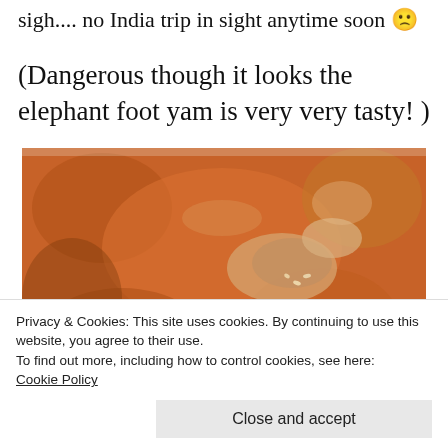sigh.... no India trip in sight anytime soon 🙁
(Dangerous though it looks the elephant foot yam is very very tasty! )
[Figure (photo): Close-up photo of a curry dish with vegetables including okra/bhindi in an orange-red sauce, served in a bowl]
Privacy & Cookies: This site uses cookies. By continuing to use this website, you agree to their use.
To find out more, including how to control cookies, see here:
Cookie Policy
Close and accept